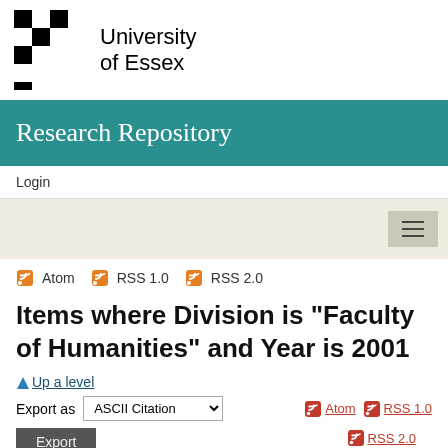[Figure (logo): University of Essex logo with black checkerboard pattern and university name]
Research Repository
Login
Atom  RSS 1.0  RSS 2.0
Items where Division is "Faculty of Humanities" and Year is 2001
Up a level
Export as  ASCII Citation
Atom  RSS 1.0
Export
RSS 2.0